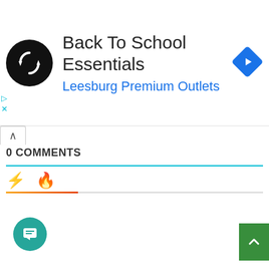[Figure (screenshot): Advertisement banner with circular black logo with looping arrows icon, title 'Back To School Essentials', subtitle 'Leesburg Premium Outlets' in blue, and a blue diamond navigation arrow icon on the right. Small cyan play/close ad controls on left edge.]
0 COMMENTS
[Figure (other): Two emoji icons: yellow lightning bolt and orange/red flame, above a gradient progress bar (orange to red fading to gray), indicating comment sorting options.]
[Figure (other): Teal floating action button with chat/message icon at bottom left, and a green scroll-to-top button at bottom right.]